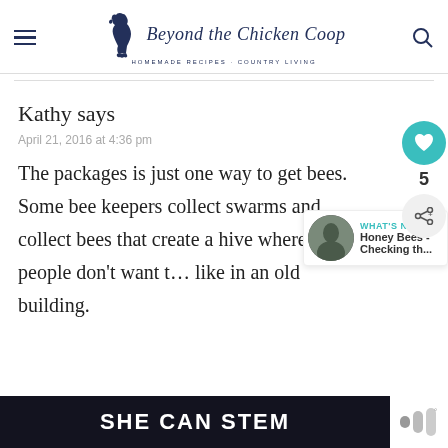Beyond the Chicken Coop — Homemade Recipes · Country Living
Kathy says
April 21, 2016 at 4:36 pm
The packages is just one way to get bees. Some bee keepers collect swarms and collect bees that create a hive where people don't want t… like in an old building.
WHAT'S NEXT → Honey Bees - Checking th...
[Figure (other): Bottom banner advertisement reading SHE CAN STEM on dark background]
5